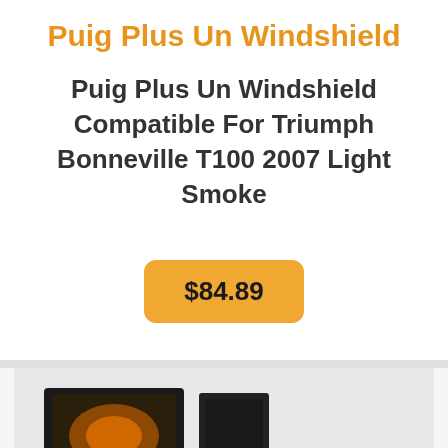Puig Plus Un Windshield
Puig Plus Un Windshield Compatible For Triumph Bonneville T100 2007 Light Smoke
$84.89
[Figure (photo): Product photo showing Puig windshield packaging contents including box, instruction sheets, and components laid out on a light gray surface]